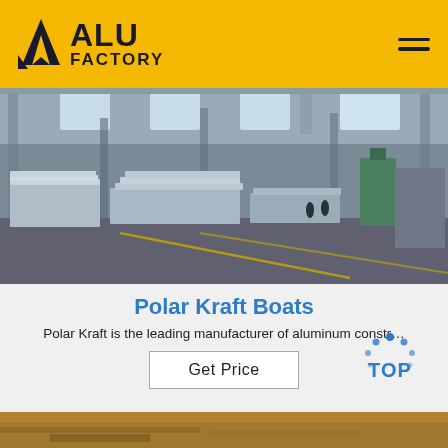ALU FACTORY
[Figure (photo): Interior of an aluminum manufacturing factory warehouse with large stacks of aluminum sheets on the floor, large windows, industrial equipment and workers in the background]
Polar Kraft Boats
Polar Kraft is the leading manufacturer of aluminum constr…
Get Price
[Figure (photo): Bottom strip showing a partial interior photo of a factory or warehouse, warm golden-brown tones]